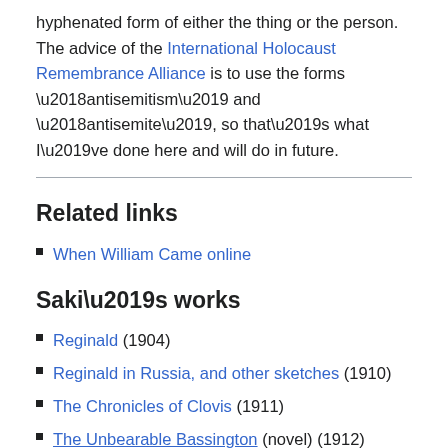hyphenated form of either the thing or the person. The advice of the International Holocaust Remembrance Alliance is to use the forms ‘antisemitism’ and ‘antisemite’, so that’s what I’ve done here and will do in future.
Related links
When William Came online
Saki’s works
Reginald (1904)
Reginald in Russia, and other sketches (1910)
The Chronicles of Clovis (1911)
The Unbearable Bassington (novel) (1912)